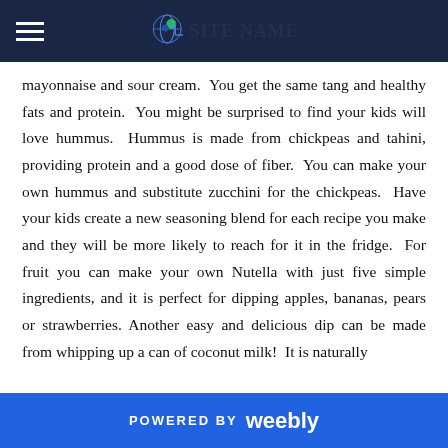Navigation header with hamburger menu and globe logo
mayonnaise and sour cream.  You get the same tang and healthy fats and protein.  You might be surprised to find your kids will love hummus.  Hummus is made from chickpeas and tahini, providing protein and a good dose of fiber.  You can make your own hummus and substitute zucchini for the chickpeas.  Have your kids create a new seasoning blend for each recipe you make and they will be more likely to reach for it in the fridge.  For fruit you can make your own Nutella with just five simple ingredients, and it is perfect for dipping apples, bananas, pears or strawberries. Another easy and delicious dip can be made from whipping up a can of coconut milk!  It is naturally
POWERED BY weebly